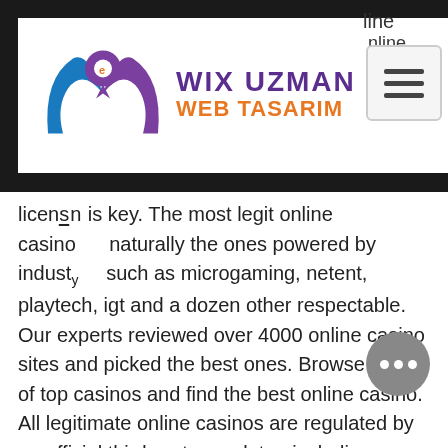[Figure (logo): Wix Uzman Web Tasarım logo with purple W shape and orange/blue text on white rounded card]
licensing is key. The most legit online casino naturally the ones powered by industry such as microgaming, netent, playtech, igt and a dozen other respectable. Our experts reviewed over 4000 online casino sites and picked the best ones. Browse a list of top casinos and find the best online casino. All legitimate online casinos are regulated by an official third-party regulator, including bodies such as the malta gaming. The unfortunate fact is that no online casino, however legitimate, is 100% perfect 100% of the time. If there was such a casino out there, then. An online casino is a virtual version of a traditional casino. It enables gamblers to play casino games over the internet. Top 10die besten online casinos